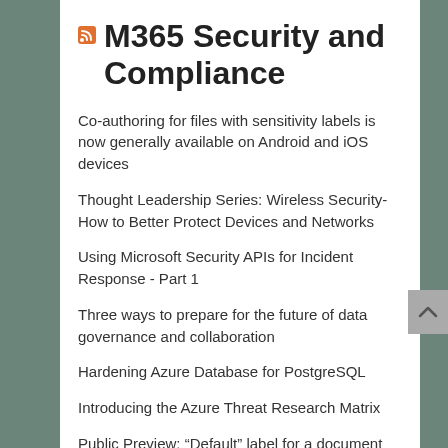M365 Security and Compliance
Co-authoring for files with sensitivity labels is now generally available on Android and iOS devices
Thought Leadership Series: Wireless Security- How to Better Protect Devices and Networks
Using Microsoft Security APIs for Incident Response - Part 1
Three ways to prepare for the future of data governance and collaboration
Hardening Azure Database for PostgreSQL
Introducing the Azure Threat Research Matrix
Public Preview: “Default” label for a document library in SharePoint Online